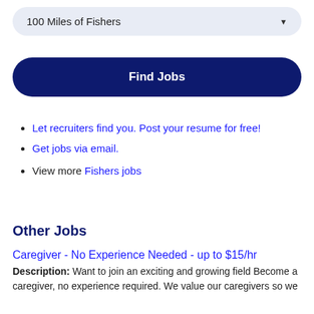100 Miles of Fishers
Find Jobs
Let recruiters find you. Post your resume for free!
Get jobs via email.
View more Fishers jobs
Other Jobs
Caregiver - No Experience Needed - up to $15/hr
Description: Want to join an exciting and growing field Become a caregiver, no experience required. We value our caregivers so we